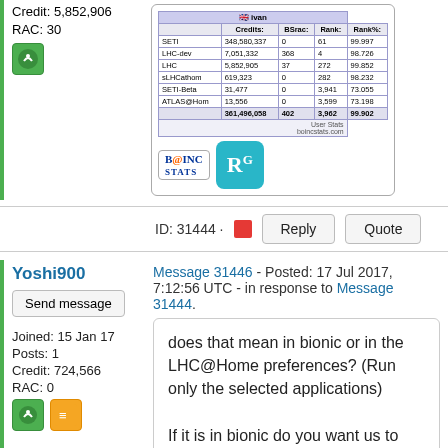Credit: 5,852,906
RAC: 30
[Figure (table-as-image): BOINC Stats table showing project credits for user 'ivan']
ID: 31444 · [report icon] Reply Quote
Yoshi900
Send message
Joined: 15 Jan 17
Posts: 1
Credit: 724,566
RAC: 0
Message 31446 - Posted: 17 Jul 2017, 7:12:56 UTC - in response to Message 31444.
does that mean in bionic or in the LHC@Home preferences? (Run only the selected applications)

If it is in bionic do you want us to accept no new tasks for LHC@home? or does CMS@home has its own